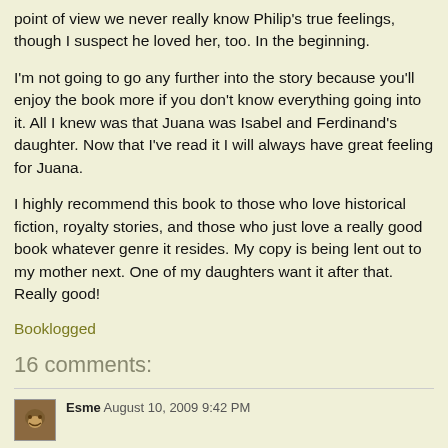point of view we never really know Philip's true feelings, though I suspect he loved her, too. In the beginning.
I'm not going to go any further into the story because you'll enjoy the book more if you don't know everything going into it. All I knew was that Juana was Isabel and Ferdinand's daughter. Now that I've read it I will always have great feeling for Juana.
I highly recommend this book to those who love historical fiction, royalty stories, and those who just love a really good book whatever genre it resides. My copy is being lent out to my mother next. One of my daughters want it after that. Really good!
Booklogged
16 comments:
Esme  August 10, 2009 9:42 PM